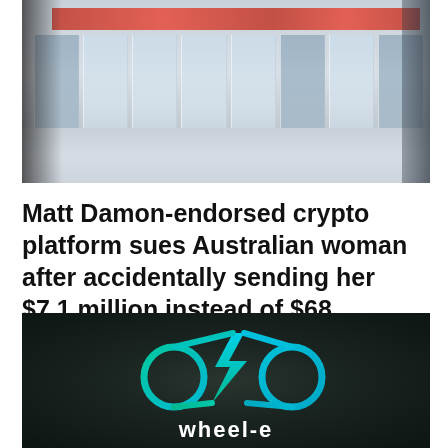[Figure (photo): Exterior of a modern glass building with red banner signage at top, multiple glass door panels, shot from a slight angle with dark shadow on the left side]
Matt Damon-endorsed crypto platform sues Australian woman after accidentally sending her $7.1 million instead of $68
[Figure (logo): wheel-e company logo: a cyan/teal gradient bicycle icon with a lightning bolt shape forming the frame, on a dark textured background, with 'wheel-e' text in white below]